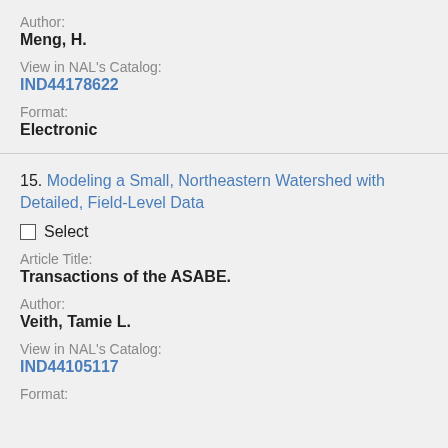Author:
Meng, H.
View in NAL's Catalog:
IND44178622
Format:
Electronic
15. Modeling a Small, Northeastern Watershed with Detailed, Field-Level Data
Select
Article Title:
Transactions of the ASABE.
Author:
Veith, Tamie L.
View in NAL's Catalog:
IND44105117
Format: